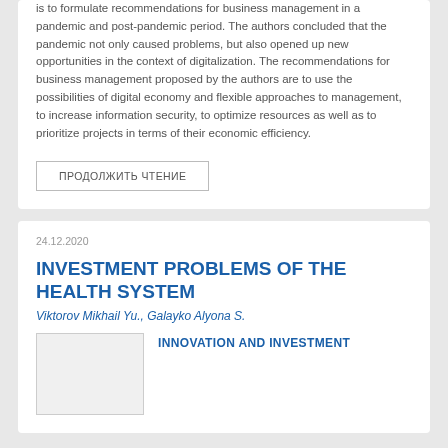is to formulate recommendations for business management in a pandemic and post-pandemic period. The authors concluded that the pandemic not only caused problems, but also opened up new opportunities in the context of digitalization. The recommendations for business management proposed by the authors are to use the possibilities of digital economy and flexible approaches to management, to increase information security, to optimize resources as well as to prioritize projects in terms of their economic efficiency.
ПРОДОЛЖИТЬ ЧТЕНИЕ
24.12.2020
INVESTMENT PROBLEMS OF THE HEALTH SYSTEM
Viktorov Mikhail Yu., Galayko Alyona S.
INNOVATION AND INVESTMENT